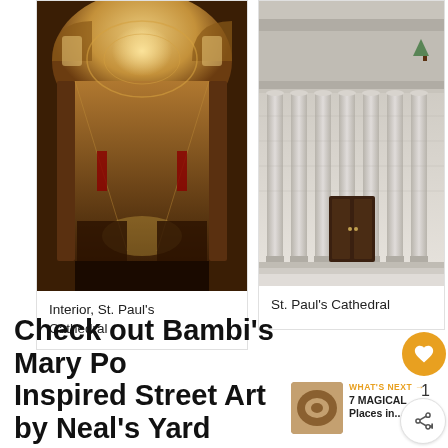[Figure (photo): Interior of St. Paul's Cathedral showing ornate golden dome, arches, and nave looking toward the altar]
Interior, St. Paul's Cathedral
[Figure (photo): Exterior facade of St. Paul's Cathedral showing large classical columns and entrance doors, black and white / monochrome]
St. Paul's Cathedral
Check out Bambi's Mary Po Inspired Street Art by Neal's Yard